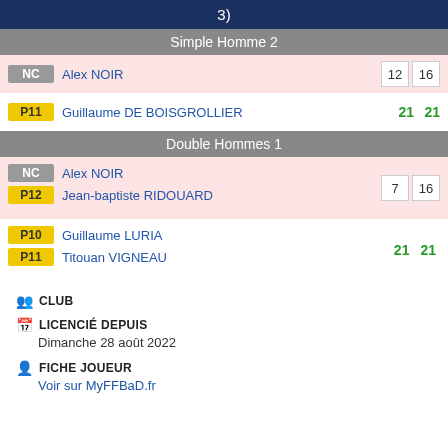3)
Simple Homme 2
| Classement | Joueur | Set 1 | Set 2 |
| --- | --- | --- | --- |
| NC | Alex NOIR | 12 | 16 |
| P11 | Guillaume DE BOISGROLLIER | 21 | 21 |
Double Hommes 1
| Classement | Joueur | Set 1 | Set 2 |
| --- | --- | --- | --- |
| NC / P12 | Alex NOIR / Jean-baptiste RIDOUARD | 7 | 16 |
| P10 / P11 | Guillaume LURIA / Titouan VIGNEAU | 21 | 21 |
🏆 CLUB
📅 LICENCIÉ DEPUIS
Dimanche 28 août 2022
👤 FICHE JOUEUR
Voir sur MyFFBaD.fr